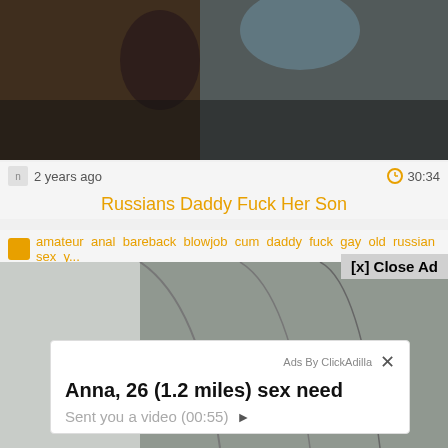[Figure (screenshot): Top blurred video thumbnail showing dark figures]
2 years ago   30:34
Russians Daddy Fuck Her Son
amateur  anal  bareback  blowjob  cum  daddy  fuck  gay  old  russian  sex  y...
[x] Close Ad
[Figure (screenshot): Bottom video thumbnail showing bald man in sunglasses inside a vehicle]
[Figure (screenshot): Ad overlay: Ads By ClickAdilla — Anna, 26 (1.2 miles) sex need — Sent you a video (00:55)]